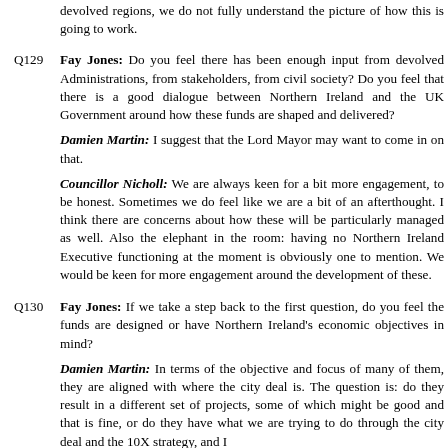devolved regions, we do not fully understand the picture of how this is going to work.
Q129  Fay Jones: Do you feel there has been enough input from devolved Administrations, from stakeholders, from civil society? Do you feel that there is a good dialogue between Northern Ireland and the UK Government around how these funds are shaped and delivered?
Damien Martin: I suggest that the Lord Mayor may want to come in on that.
Councillor Nicholl: We are always keen for a bit more engagement, to be honest. Sometimes we do feel like we are a bit of an afterthought. I think there are concerns about how these will be particularly managed as well. Also the elephant in the room: having no Northern Ireland Executive functioning at the moment is obviously one to mention. We would be keen for more engagement around the development of these.
Q130  Fay Jones: If we take a step back to the first question, do you feel the funds are designed or have Northern Ireland's economic objectives in mind?
Damien Martin: In terms of the objective and focus of many of them, they are aligned with where the city deal is. The question is: do they result in a different set of projects, some of which might be good and that is fine, or do they have what we are trying to do through the city deal and the 10X strategy, and I